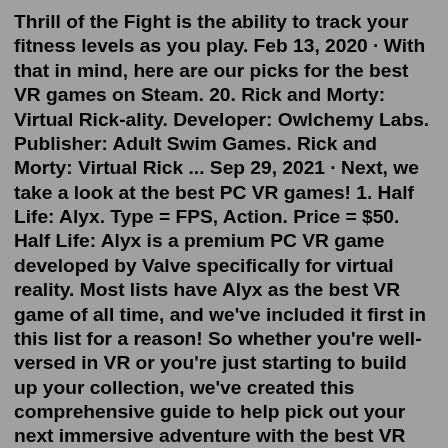Thrill of the Fight is the ability to track your fitness levels as you play. Feb 13, 2020 · With that in mind, here are our picks for the best VR games on Steam. 20. Rick and Morty: Virtual Rick-ality. Developer: Owlchemy Labs. Publisher: Adult Swim Games. Rick and Morty: Virtual Rick ... Sep 29, 2021 · Next, we take a look at the best PC VR games! 1. Half Life: Alyx. Type = FPS, Action. Price = $50. Half Life: Alyx is a premium PC VR game developed by Valve specifically for virtual reality. Most lists have Alyx as the best VR game of all time, and we've included it first in this list for a reason! So whether you're well-versed in VR or you're just starting to build up your collection, we've created this comprehensive guide to help pick out your next immersive adventure with the best VR games for home entertainment. Best Multiplatform VR Game: Star Trek: Bridge Crew; Best VR Game for Small Spaces: Superhot; Best VR Game for Kids ... Feb 06, 2020 · 10 Coolest Action VR Games. 10. Superhot. Superhot is what happens when you take a little John Woo, mix in some your portions...